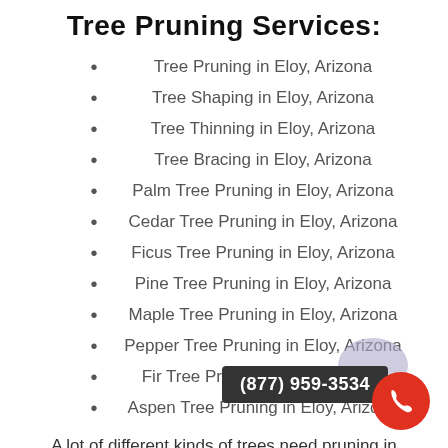Tree Pruning Services:
Tree Pruning in Eloy, Arizona
Tree Shaping in Eloy, Arizona
Tree Thinning in Eloy, Arizona
Tree Bracing in Eloy, Arizona
Palm Tree Pruning in Eloy, Arizona
Cedar Tree Pruning in Eloy, Arizona
Ficus Tree Pruning in Eloy, Arizona
Pine Tree Pruning in Eloy, Arizona
Maple Tree Pruning in Eloy, Arizona
Pepper Tree Pruning in Eloy, Arizona
Fir Tree Pruning in Eloy, Arizona
Aspen Tree Pruning in Eloy, Arizona
A lot of different kinds of trees need pruning in order to keep them healthy. Our skilled tree professionals can assist in taking care of this for